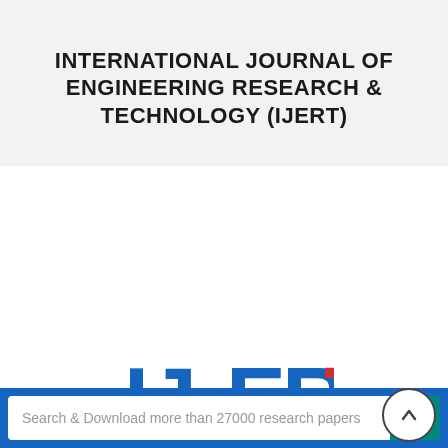INTERNATIONAL JOURNAL OF ENGINEERING RESEARCH & TECHNOLOGY (IJERT)
[Figure (logo): IJERT logo with text ISSN: 2278-0181 and navigation icons (hamburger menu, Facebook, email)]
Search & Download more than 27000 research papers
1%
food 0%
Oil and Petroleum 22%
Pharmaceutical 18%
Polyester (With